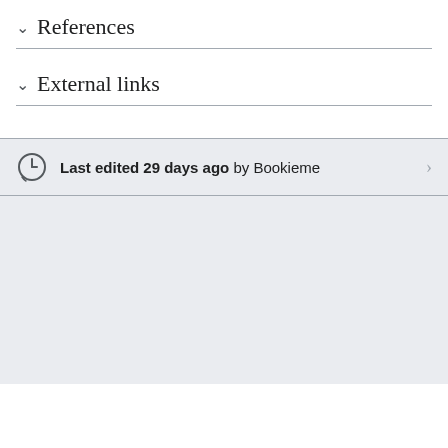References
External links
Last edited 29 days ago by Bookieme